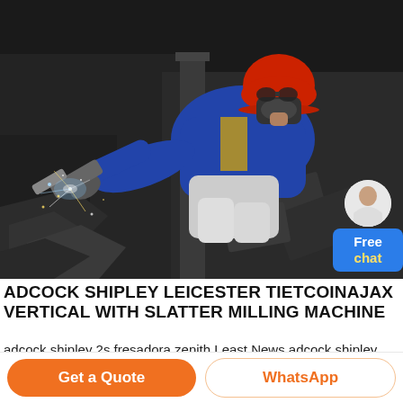[Figure (photo): Industrial worker wearing red hard hat, blue jacket, and white pants, using a metal grinder with sparks flying in a factory setting.]
ADCOCK SHIPLEY LEICESTER TIETCOINAJAX VERTICAL WITH SLATTER MILLING MACHINE
adcock shipley 2s fresadora zenith Least News adcock shipley milling machine with dro The More list of stone crusher manufacturer in europe i want to ajax vertical milling machineaplcricketin ajax vertical with slatter milling
Get a Quote
WhatsApp